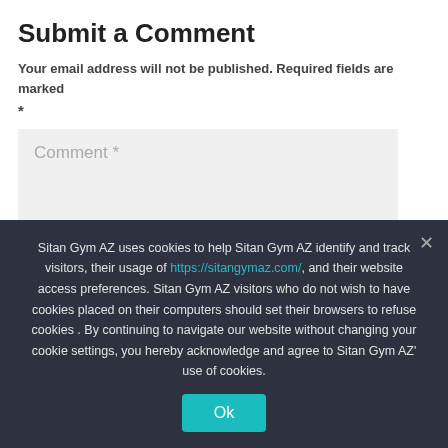Submit a Comment
Your email address will not be published. Required fields are marked
*
[Figure (screenshot): Comment text input field placeholder showing 'Comment *' in a light gray background box]
Sitan Gym AZ uses cookies to help Sitan Gym AZ identify and track visitors, their usage of https://sitangymaz.com/, and their website access preferences. Sitan Gym AZ visitors who do not wish to have cookies placed on their computers should set their browsers to refuse cookies . By continuing to navigate our website without changing your cookie settings, you hereby acknowledge and agree to Sitan Gym AZ' use of cookies.